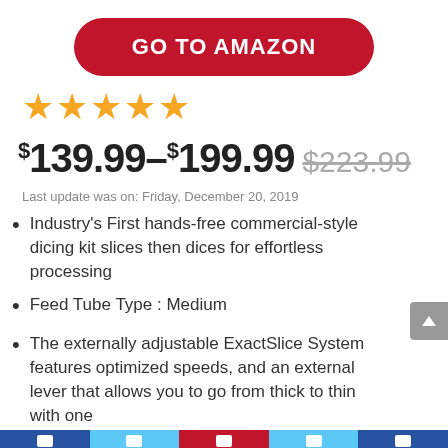[Figure (other): Red rounded button with white bold text reading GO TO AMAZON]
★★★★★
$139.99–$199.99 $223.99 (strikethrough)
Last update was on: Friday, December 20, 2019
Industry's First hands-free commercial-style dicing kit slices then dices for effortless processing
Feed Tube Type : Medium
The externally adjustable ExactSlice System features optimized speeds, and an external lever that allows you to go from thick to thin with one